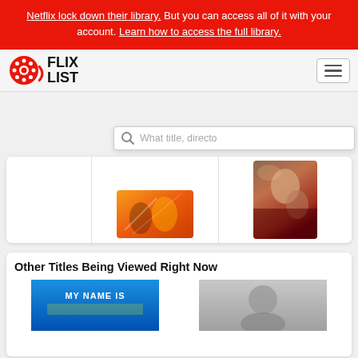Netflix lock down their library. But you can access all of it with your account. Learn how to access the full library.
[Figure (logo): FlixList logo with film reel icon and text FLIX LIST]
[Figure (screenshot): Search bar with magnifying glass icon and placeholder text 'What title, director']
[Figure (photo): Action/animated movie thumbnail showing superhero figures]
[Figure (photo): Portrait movie poster showing close-up of man's face with dramatic red/orange background]
Other Titles Being Viewed Right Now
[Figure (photo): Movie thumbnail showing 'MY NAME IS' text on blue background]
[Figure (photo): Gray movie thumbnail placeholder]